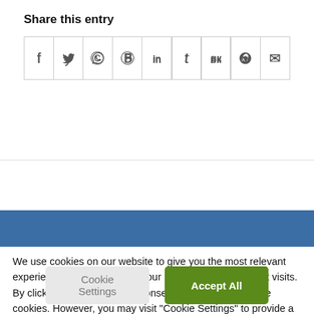Share this entry
[Figure (other): Row of social media sharing icons: Facebook, Twitter, WhatsApp, Pinterest, LinkedIn, Tumblr, VK, Reddit, Email]
We use cookies on our website to give you the most relevant experience by remembering your preferences and repeat visits. By clicking “Accept All”, you consent to the use of ALL the cookies. However, you may visit "Cookie Settings" to provide a controlled consent.
Cookie Settings   Accept All